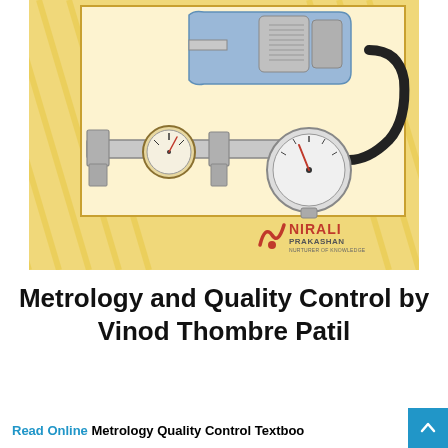[Figure (illustration): Book cover image showing metrology instruments including a micrometer, vernier caliper with dial, and a dial gauge with flexible hose, displayed on an orange/yellow striped background with Nirali Prakashan logo.]
Metrology and Quality Control by Vinod Thombre Patil
Read Online Metrology Quality Control Textboo